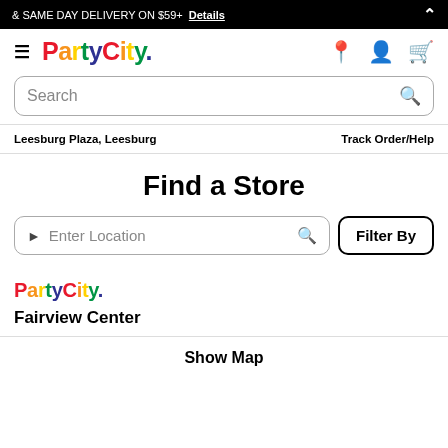& SAME DAY DELIVERY ON $59+  Details
[Figure (logo): Party City logo with hamburger menu icon]
Search
Leesburg Plaza, Leesburg    Track Order/Help
Find a Store
Enter Location   Filter By
[Figure (logo): Party City small logo]
Fairview Center
Show Map